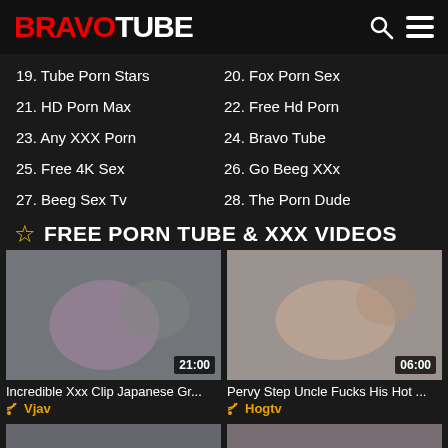BRAVOTUBE
19. Tube Porn Stars
20. Fox Porn Sex
21. HD Porn Max
22. Free Hd Porn
23. Any XXX Porn
24. Bravo Tube
25. Free 4K Sex
26. Go Beeg XXx
27. Beeg Sex Tv
28. The Porn Dude
FREE PORN TUBE & XXX VIDEOS
[Figure (screenshot): Video thumbnail with duration 21:00 - Incredible Xxx Clip Japanese Gr...]
[Figure (screenshot): Video thumbnail with duration 06:00 - Pervy Step Uncle Fucks His Hot ...]
Incredible Xxx Clip Japanese Gr...
Vjav
Pervy Step Uncle Fucks His Hot ...
Hogtv
[Figure (screenshot): Partial video thumbnail bottom left with duration 16:00]
[Figure (screenshot): Partial video thumbnail bottom right with duration 08:00]